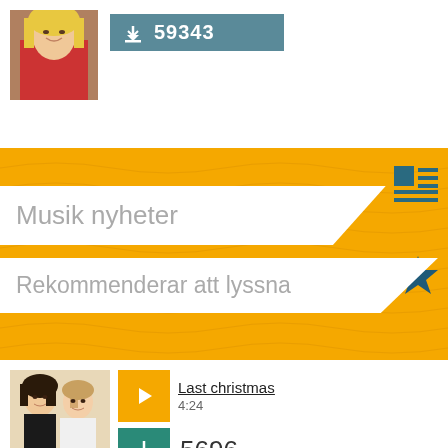[Figure (screenshot): Top partial card showing thumbnail of woman in red and a download button with count 59343]
59343
[Figure (screenshot): Yellow wavy background band]
Musik nyheter
[Figure (illustration): Icon: list/article icon (teal square with lines)]
Rekommenderar att lyssna
[Figure (illustration): Star icon (teal/dark blue filled star)]
[Figure (photo): Thumbnail of two young men, likely Wham band photo]
Last christmas
4:24
5696